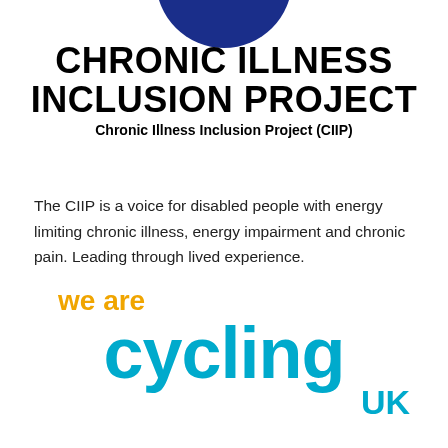[Figure (logo): Blue arc/circle logo at top center for Chronic Illness Inclusion Project]
CHRONIC ILLNESS INCLUSION PROJECT
Chronic Illness Inclusion Project (CIIP)
The CIIP is a voice for disabled people with energy limiting chronic illness, energy impairment and chronic pain. Leading through lived experience.
[Figure (logo): We Are Cycling UK logo — 'we are' in orange, 'cycling' in large teal/blue bold text, 'UK' in teal below right]